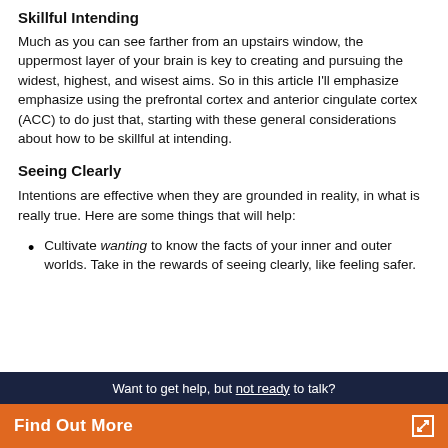Skillful Intending
Much as you can see farther from an upstairs window, the uppermost layer of your brain is key to creating and pursuing the widest, highest, and wisest aims. So in this article I'll emphasize emphasize using the prefrontal cortex and anterior cingulate cortex (ACC) to do just that, starting with these general considerations about how to be skillful at intending.
Seeing Clearly
Intentions are effective when they are grounded in reality, in what is really true. Here are some things that will help:
Cultivate wanting to know the facts of your inner and outer worlds. Take in the rewards of seeing clearly, like feeling safer.
Want to get help, but not ready to talk? Find Out More